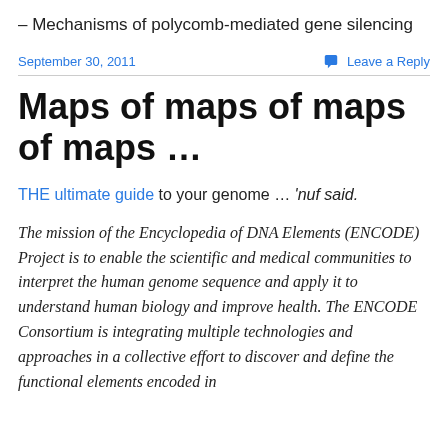– Mechanisms of polycomb-mediated gene silencing
September 30, 2011
Leave a Reply
Maps of maps of maps of maps …
THE ultimate guide to your genome … 'nuf said.
The mission of the Encyclopedia of DNA Elements (ENCODE) Project is to enable the scientific and medical communities to interpret the human genome sequence and apply it to understand human biology and improve health. The ENCODE Consortium is integrating multiple technologies and approaches in a collective effort to discover and define the functional elements encoded in